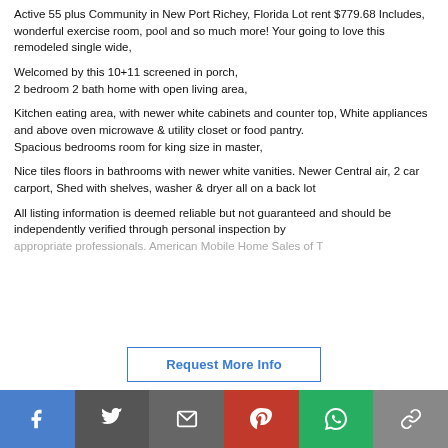Active 55 plus Community in New Port Richey, Florida Lot rent $779.68 Includes, wonderful exercise room, pool and so much more! Your going to love this remodeled single wide,
Welcomed by this 10+11 screened in porch,
2 bedroom 2 bath home with open living area,
Kitchen eating area, with newer white cabinets and counter top, White appliances and above oven microwave & utility closet or food pantry.
Spacious bedrooms room for king size in master,
Nice tiles floors in bathrooms with newer white vanities. Newer Central air, 2 car carport, Shed with shelves, washer & dryer all on a back lot
All listing information is deemed reliable but not guaranteed and should be independently verified through personal inspection by appropriate professionals. American Mobile Home Sales of T...